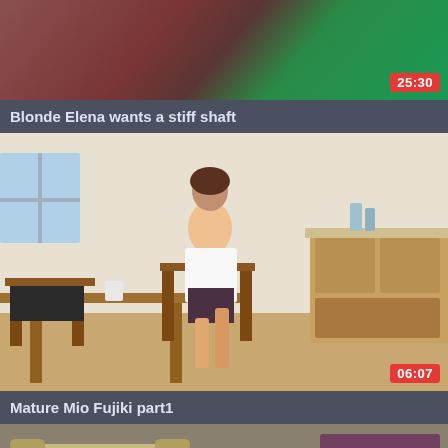[Figure (screenshot): Video thumbnail 1 - partial view of video content, top portion cut off]
Blonde Elena wants a stiff shaft
[Figure (screenshot): Video thumbnail 2 - woman in white shirt and dark skirt sitting on wooden chair in kitchen/dining area, duration 06:07]
Mature Mio Fujiki part1
[Figure (screenshot): Video thumbnail 3 - partial view of indoor scene with sofa, bottom portion of page]